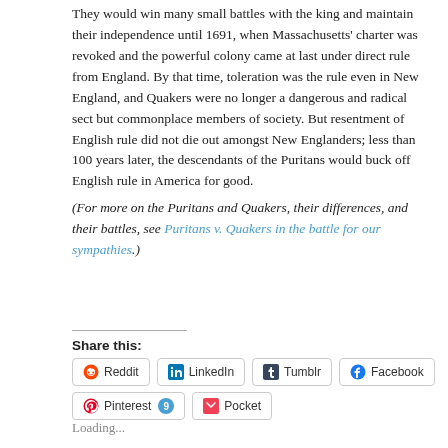They would win many small battles with the king and maintain their independence until 1691, when Massachusetts' charter was revoked and the powerful colony came at last under direct rule from England. By that time, toleration was the rule even in New England, and Quakers were no longer a dangerous and radical sect but commonplace members of society. But resentment of English rule did not die out amongst New Englanders; less than 100 years later, the descendants of the Puritans would buck off English rule in America for good.
(For more on the Puritans and Quakers, their differences, and their battles, see Puritans v. Quakers in the battle for our sympathies.)
Share this:
Reddit LinkedIn Tumblr Facebook Pinterest 9 Pocket
Loading...